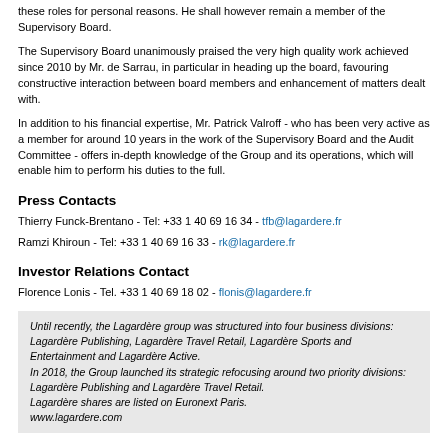these roles for personal reasons. He shall however remain a member of the Supervisory Board.
The Supervisory Board unanimously praised the very high quality work achieved since 2010 by Mr. de Sarrau, in particular in heading up the board, favouring constructive interaction between board members and enhancement of matters dealt with.
In addition to his financial expertise, Mr. Patrick Valroff - who has been very active as a member for around 10 years in the work of the Supervisory Board and the Audit Committee - offers in-depth knowledge of the Group and its operations, which will enable him to perform his duties to the full.
Press Contacts
Thierry Funck-Brentano - Tel: +33 1 40 69 16 34 - tfb@lagardere.fr
Ramzi Khiroun - Tel: +33 1 40 69 16 33 - rk@lagardere.fr
Investor Relations Contact
Florence Lonis - Tel. +33 1 40 69 18 02 - flonis@lagardere.fr
Until recently, the Lagardère group was structured into four business divisions: Lagardère Publishing, Lagardère Travel Retail, Lagardère Sports and Entertainment and Lagardère Active.
In 2018, the Group launched its strategic refocusing around two priority divisions: Lagardère Publishing and Lagardère Travel Retail.
Lagardère shares are listed on Euronext Paris.
www.lagardere.com